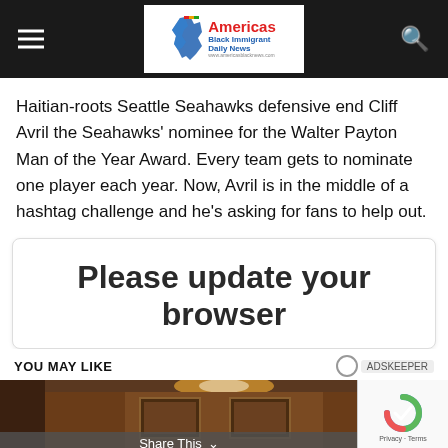Americas Black Immigrant Daily News
Haitian-roots Seattle Seahawks defensive end Cliff Avril the Seahawks' nominee for the Walter Payton Man of the Year Award. Every team gets to nominate one player each year. Now, Avril is in the middle of a hashtag challenge and he's asking for fans to help out.
Please update your browser
YOU MAY LIKE
[Figure (photo): Interior room with warm wooden furniture and ceiling lights]
Share This